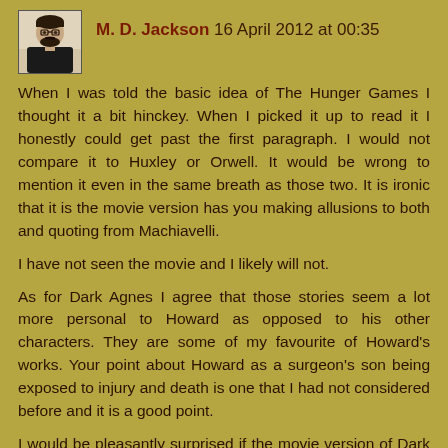[Figure (photo): Small avatar photo of a man with glasses and beard, wearing dark clothing, against a light background]
M. D. Jackson 16 April 2012 at 00:35
When I was told the basic idea of The Hunger Games I thought it a bit hinckey. When I picked it up to read it I honestly could get past the first paragraph. I would not compare it to Huxley or Orwell. It would be wrong to mention it even in the same breath as those two. It is ironic that it is the movie version has you making allusions to both and quoting from Machiavelli.
I have not seen the movie and I likely will not.
As for Dark Agnes I agree that those stories seem a lot more personal to Howard as opposed to his other characters. They are some of my favourite of Howard's works. Your point about Howard as a surgeon's son being exposed to injury and death is one that I had not considered before and it is a good point.
I would be pleasantly surprised if the movie version of Dark Agnes gives us more than just a badass warrior chick in a metal bikini. I hold out little hope despite being very